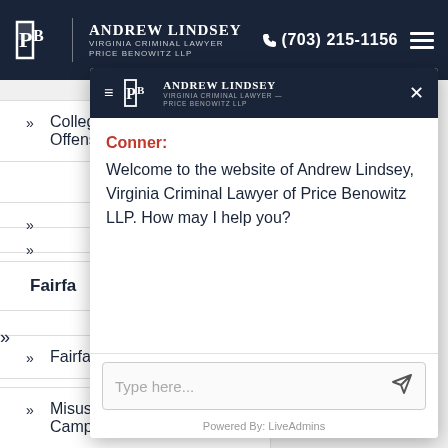[Figure (screenshot): Website screenshot showing Andrew Lindsey Virginia Criminal Lawyer Price Benowitz LLP header navigation with logo, phone number (703) 215-1156, and hamburger menu on dark navy background. Below is a partially visible navigation menu with items including College Offenses, Fairfax items, Misuse/Campus, Student. A chat popup overlay is shown with Andrew Lindsey branding header, a message from 'Conner:' saying 'Welcome to the website of Andrew Lindsey, Virginia Criminal Lawyer of Price Benowitz LLP. How may I help you?', a text input field with 'Type here...' placeholder and send button, and 'Powered By: LiveAdmins' footer.]